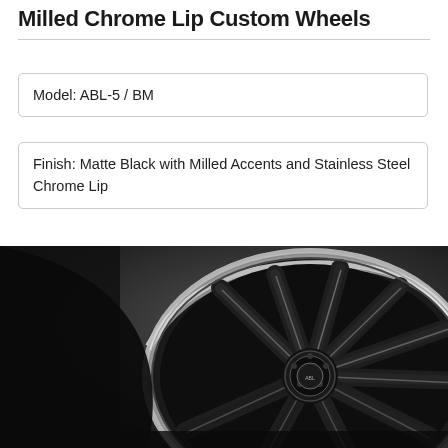Milled Chrome Lip Custom Wheels
Model: ABL-5 / BM
Finish: Matte Black with Milled Accents and Stainless Steel Chrome Lip
[Figure (photo): A custom wheel with matte black finish, milled accents, and a stainless steel chrome lip. The wheel has multi-spoke design with a center cap showing a brand logo, photographed against a dark gradient background.]